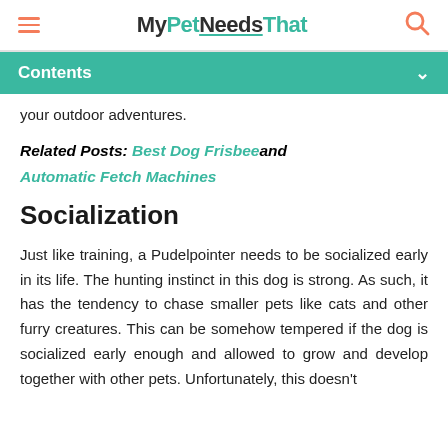MyPetNeedsThat
Contents
your outdoor adventures.
Related Posts: Best Dog Frisbee and Automatic Fetch Machines
Socialization
Just like training, a Pudelpointer needs to be socialized early in its life. The hunting instinct in this dog is strong. As such, it has the tendency to chase smaller pets like cats and other furry creatures. This can be somehow tempered if the dog is socialized early enough and allowed to grow and develop together with other pets. Unfortunately, this doesn't